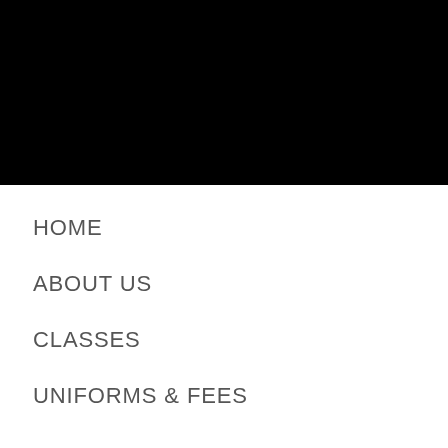[Figure (photo): Black banner image at top of page]
HOME
ABOUT US
CLASSES
UNIFORMS & FEES